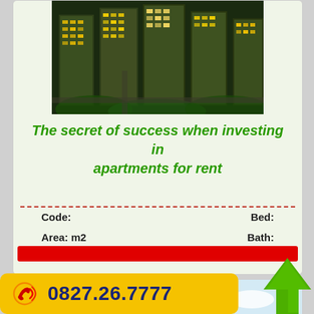[Figure (photo): Aerial/bird's eye view of a high-rise apartment complex at night with greenery surrounding the buildings]
The secret of success when investing in apartments for rent
Code:   Bed:   Area: m2   Bath:
[Figure (photo): Daytime skyline photo of modern apartment or office towers against a blue sky]
0827.26.7777